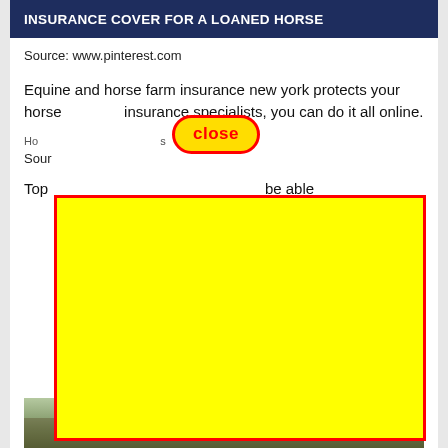INSURANCE COVER FOR A LOANED HORSE
Source: www.pinterest.com
Equine and horse farm insurance new york protects your horse and insurance specialists, you can do it all online.
[Figure (photo): Broken image placeholder for horse-related insurance image]
Source
Top be able
[Figure (photo): Yellow overlay advertisement blocking content with red border and close button]
[Figure (photo): Bottom photo of horses in a field]